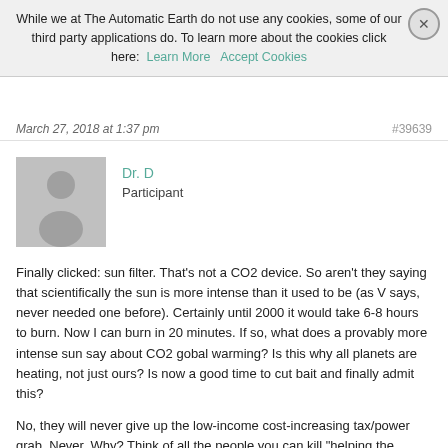While we at The Automatic Earth do not use any cookies, some of our third party applications do. To learn more about the cookies click here: Learn More  Accept Cookies
March 27, 2018 at 1:37 pm
#39639
Dr. D
Participant
Finally clicked: sun filter. That’s not a CO2 device. So aren’t they saying that scientifically the sun is more intense than it used to be (as V says, never needed one before). Certainly until 2000 it would take 6-8 hours to burn. Now I can burn in 20 minutes. If so, what does a provably more intense sun say about CO2 gobal warming? Is this why all planets are heating, not just ours? Is now a good time to cut bait and finally admit this?
No, they will never give up the low-income cost-increasing tax/power grab. Never. Why? Think of all the people you can kill “helping the environment”. They’ll cheer, as Ehrlich does. Listen to their talks and papers: killing humans is always the right thing to do. It’s always the right time to Kill All the Things™. And if they don’t die naturally, we’ll coat them in plastic and kill them all by accident.